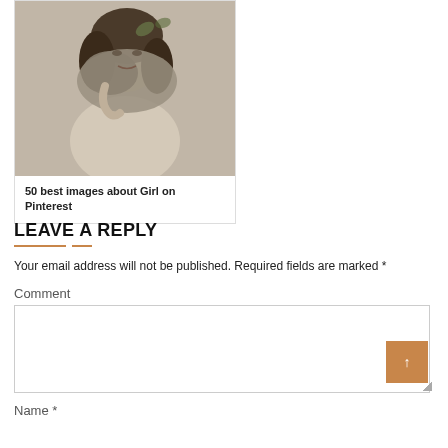[Figure (photo): Black and white photo of a woman draped in a knit shawl]
50 best images about Girl on Pinterest
LEAVE A REPLY
Your email address will not be published. Required fields are marked *
Comment
Name *